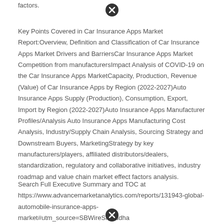factors.
[Figure (other): Close/cancel icon (circle with X) at top center of page]
Key Points Covered in Car Insurance Apps Market Report:Overview, Definition and Classification of Car Insurance Apps Market Drivers and BarriersCar Insurance Apps Market Competition from manufacturersImpact Analysis of COVID-19 on the Car Insurance Apps MarketCapacity, Production, Revenue (Value) of Car Insurance Apps by Region (2022-2027)Auto Insurance Apps Supply (Production), Consumption, Export, Import by Region (2022-2027)Auto Insurance Apps Manufacturer Profiles/Analysis Auto Insurance Apps Manufacturing Cost Analysis, Industry/Supply Chain Analysis, Sourcing Strategy and Downstream Buyers, MarketingStrategy by key manufacturers/players, affiliated distributors/dealers, standardization, regulatory and collaborative initiatives, industry roadmap and value chain market effect factors analysis.
Search Full Executive Summary and TOC at https://www.advancemarketanalytics.com/reports/131943-global-automobile-insurance-apps-market#utm_source=SBWireShraddha
[Figure (other): Close/cancel icon (circle with X) at bottom center of page]